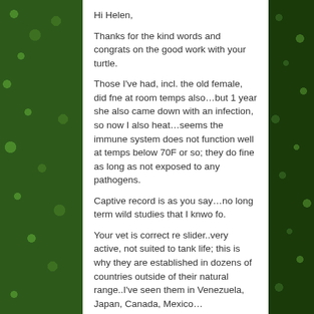Hi Helen,
Thanks for the kind words and congrats on the good work with your turtle.
Those I've had, incl. the old female, did fne at room temps also…but 1 year she also came down with an infection, so now I also heat…seems the immune system does not function well at temps below 70F or so; they do fine as long as not exposed to any pathogens.
Captive record is as you say…no long term wild studies that I knwo fo.
Your vet is correct re slider..very active, not suited to tank life; this is why they are established in dozens of countries outside of their natural range..I've seen them in Venezuela, Japan, Canada, Mexico…